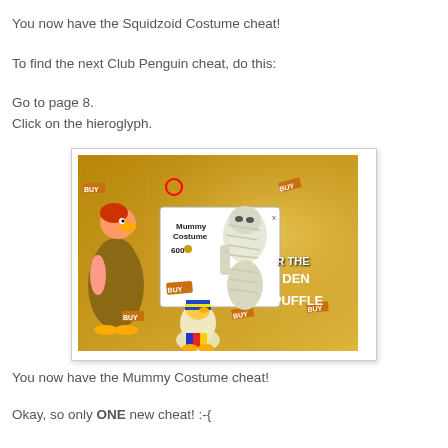You now have the Squidzoid Costume cheat!
To find the next Club Penguin cheat, do this:
Go to page 8.
Click on the hieroglyph.
[Figure (screenshot): Club Penguin game screenshot showing a mummy costume popup (Mummy Costume 600 coins) with a BUY button, an explorer penguin on the left, hieroglyphs in background, and Golden Puffle text on the right.]
You now have the Mummy Costume cheat!
Okay, so only ONE new cheat! :-{